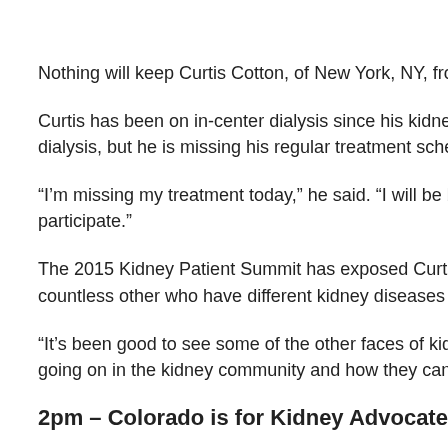Nothing will keep Curtis Cotton, of New York, NY, from particip…
Curtis has been on in-center dialysis since his kidneys failed … dialysis, but he is missing his regular treatment schedule to p…
“I’m missing my treatment today,” he said. “I will be back on d… participate.”
The 2015 Kidney Patient Summit has exposed Curtis to a wo… countless other who have different kidney diseases and caus…
“It’s been good to see some of the other faces of kidney disea… going on in the kidney community and how they can help. The…
2pm – Colorado is for Kidney Advocates